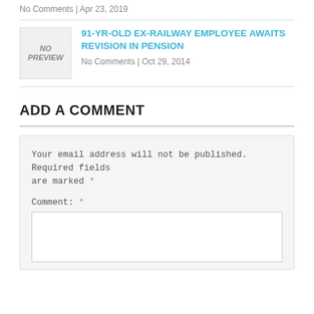No Comments | Apr 23, 2019
91-YR-OLD EX-RAILWAY EMPLOYEE AWAITS REVISION IN PENSION
No Comments | Oct 29, 2014
ADD A COMMENT
Your email address will not be published. Required fields are marked *
Comment: *